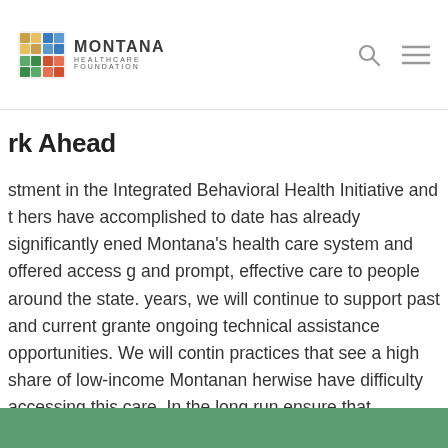Montana Healthcare Foundation
rk Ahead
stment in the Integrated Behavioral Health Initiative and t hers have accomplished to date has already significantly ened Montana's health care system and offered access g and prompt, effective care to people around the state. years, we will continue to support past and current grante ongoing technical assistance opportunities. We will contin practices that see a high share of low-income Montanan herwise have difficulty accessing this care. In the long run ensure that integrated care becomes recognized as the r standard for primary care that gives providers an effect Montana's most pressing health issues and ensures that p cess to behavioral health services when needed.